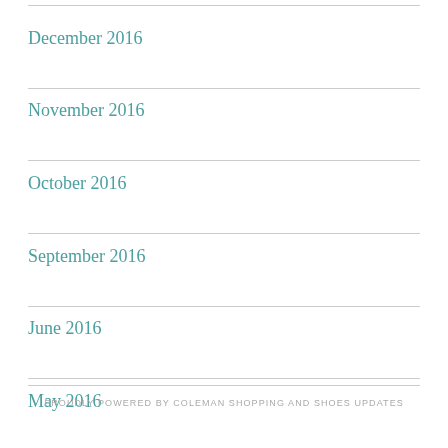December 2016
November 2016
October 2016
September 2016
June 2016
May 2016
PROUDLY POWERED BY COLEMAN SHOPPING AND SHOES UPDATES